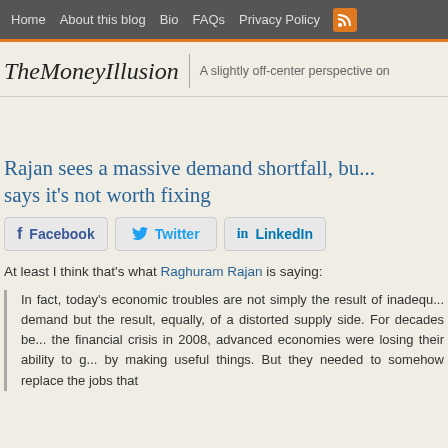Home  About this blog  Bio  FAQs  Privacy Policy
TheMoneyIllusion
A slightly off-center perspective on
Rajan sees a massive demand shortfall, but says it’s not worth fixing
Facebook  Twitter  LinkedIn
At least I think that’s what Raghuram Rajan is saying:
In fact, today’s economic troubles are not simply the result of inadequate demand but the result, equally, of a distorted supply side. For decades before the financial crisis in 2008, advanced economies were losing their ability to grow by making useful things. But they needed to somehow replace the jobs that